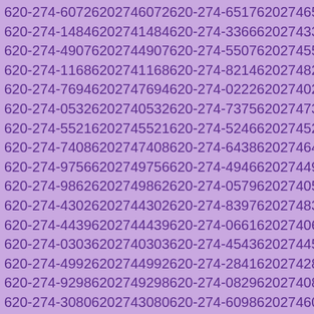| 620-274-6072 | 6202746072 | 620-274-6517 | 6202746517 |
| 620-274-1484 | 6202741484 | 620-274-3366 | 6202743366 |
| 620-274-4907 | 6202744907 | 620-274-5507 | 6202745507 |
| 620-274-1168 | 6202741168 | 620-274-8214 | 6202748214 |
| 620-274-7694 | 6202747694 | 620-274-0222 | 6202740222 |
| 620-274-0532 | 6202740532 | 620-274-7375 | 6202747375 |
| 620-274-5521 | 6202745521 | 620-274-5246 | 6202745246 |
| 620-274-7408 | 6202747408 | 620-274-6438 | 6202746438 |
| 620-274-9756 | 6202749756 | 620-274-4946 | 6202744946 |
| 620-274-9862 | 6202749862 | 620-274-0579 | 6202740579 |
| 620-274-4302 | 6202744302 | 620-274-8397 | 6202748397 |
| 620-274-4439 | 6202744439 | 620-274-0661 | 6202740661 |
| 620-274-0303 | 6202740303 | 620-274-4543 | 6202744543 |
| 620-274-4992 | 6202744992 | 620-274-2841 | 6202742841 |
| 620-274-9298 | 6202749298 | 620-274-0829 | 6202740829 |
| 620-274-3080 | 6202743080 | 620-274-6098 | 6202746098 |
| 620-274-0744 | 6202740744 | 620-274-9517 | 6202749517 |
| 620-274-7049 | 6202747049 | 620-274-6834 | 6202746834 |
| 620-274-7935 | 6202747935 | 620-274-1731 | 6202741731 |
| 620-274-2830 | 6202742830 | 620-274-7096 | 6202747096 |
| 620-274-7319 | 6202747319 | 620-274-4050 | 6202744050 |